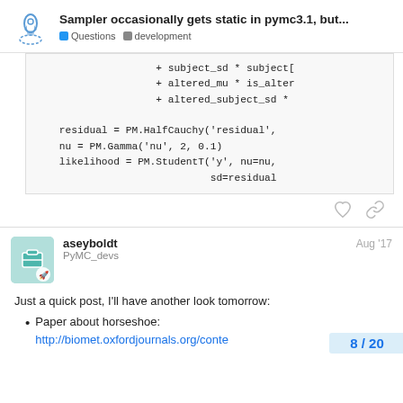Sampler occasionally gets static in pymc3.1, but... | Questions | development
+ subject_sd * subject[
+ altered_mu * is_alter
+ altered_subject_sd *

residual = PM.HalfCauchy('residual',
nu = PM.Gamma('nu', 2, 0.1)
likelihood = PM.StudentT('y', nu=nu,
                         sd=residual
aseyboldt — PyMC_devs — Aug '17
Just a quick post, I'll have another look tomorrow:
Paper about horseshoe: http://biomet.oxfordjournals.org/conte